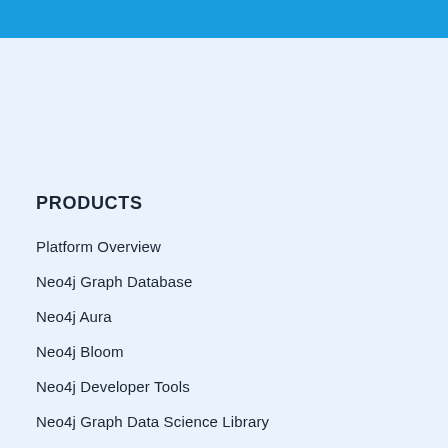PRODUCTS
Platform Overview
Neo4j Graph Database
Neo4j Aura
Neo4j Bloom
Neo4j Developer Tools
Neo4j Graph Data Science Library
Neo4j GraphQL Library
Cypher Query Language